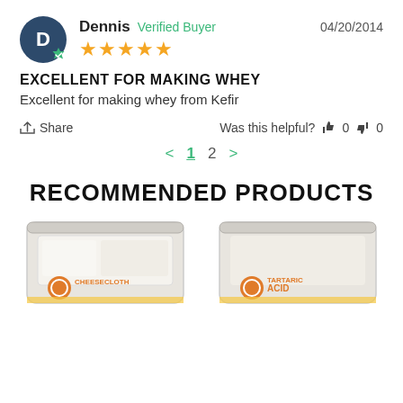Dennis  Verified Buyer  04/20/2014  ★★★★★
EXCELLENT FOR MAKING WHEY
Excellent for making whey from Kefir
Share  Was this helpful?  👍 0  👎 0
< 1 2 >
RECOMMENDED PRODUCTS
[Figure (photo): Two product images: a bag of cheesecloth and a bag of tartaric acid]
CHEESECLOTH  TARTARIC ACID